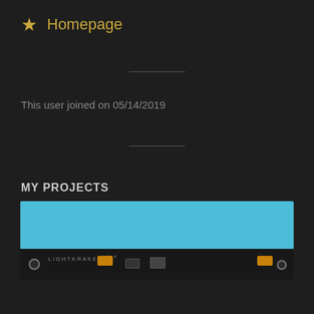★ Homepage
This user joined on 05/14/2019
MY PROJECTS
[Figure (photo): Photo of a circuit board labeled LIGHTKRAKEN V1.4 against a cyan/blue background. The PCB shows various electronic components including connectors, switches, USB port, and integrated circuits.]